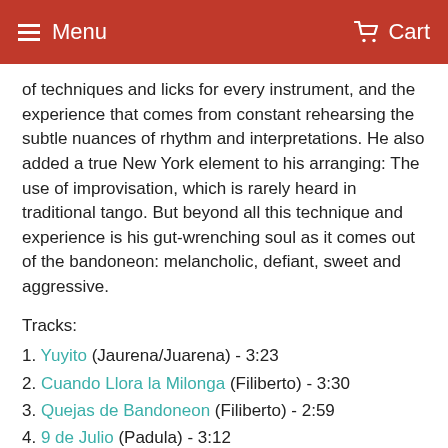Menu   Cart
of techniques and licks for every instrument, and the experience that comes from constant rehearsing the subtle nuances of rhythm and interpretations. He also added a true New York element to his arranging: The use of improvisation, which is rarely heard in traditional tango. But beyond all this technique and experience is his gut-wrenching soul as it comes out of the bandoneon: melancholic, defiant, sweet and aggressive.
Tracks:
1. Yuyito (Jaurena/Juarena) - 3:23
2. Cuando Llora la Milonga (Filiberto) - 3:30
3. Quejas de Bandoneon (Filiberto) - 2:59
4. 9 de Julio (Padula) - 3:12
5. Desde el Alma (DePiuma/Melo) - 3:39
6. El Once (Fresedo) - 2:46